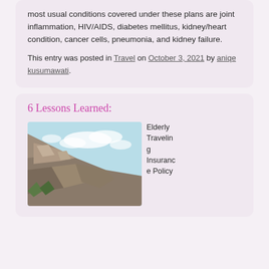most usual conditions covered under these plans are joint inflammation, HIV/AIDS, diabetes mellitus, kidney/heart condition, cancer cells, pneumonia, and kidney failure.
This entry was posted in Travel on October 3, 2021 by aniqe kusumawati.
6 Lessons Learned:
[Figure (photo): Photo of a rocky mountain cliff with a light blue sky and clouds in the background]
Elderly Traveling Insurance Policy